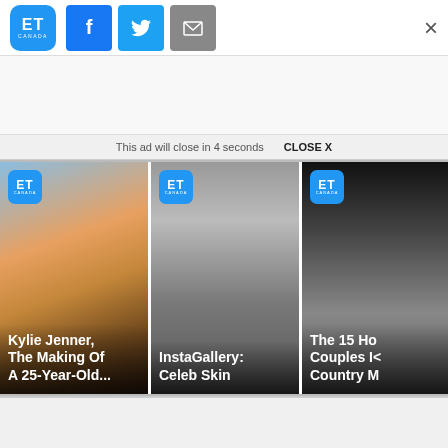ET Canada | Facebook | Twitter | Email | Close
This ad will close in 4 seconds   CLOSE X
[Figure (photo): ET Canada video thumbnail: Kylie Jenner in leopard dress with text overlay 'Kylie Jenner, The Making Of A 25-Year-Old...']
[Figure (photo): ET Canada video thumbnail: shirtless person taking selfie in mirror, text overlay 'InstaGallery: Celeb Skin']
[Figure (photo): ET Canada video thumbnail: couple smiling, partial text 'The 15 Ho... Couples I... Country M...']